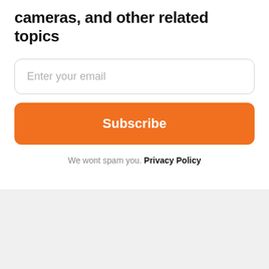cameras, and other related topics
Enter your email
Subscribe
We wont spam you. Privacy Policy